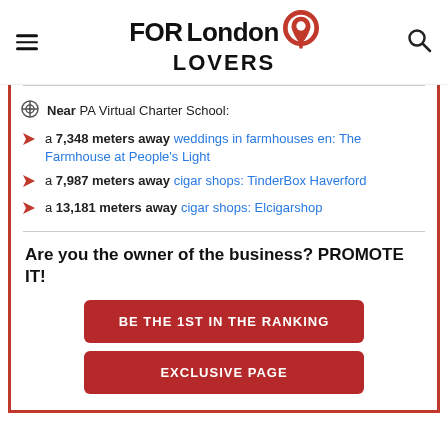FOR London LOVERS
Near PA Virtual Charter School:
a 7,348 meters away weddings in farmhouses en: The Farmhouse at People's Light
a 7,987 meters away cigar shops: TinderBox Haverford
a 13,181 meters away cigar shops: Elcigarshop
Are you the owner of the business? PROMOTE IT!
BE THE 1ST IN THE RANKING
EXCLUSIVE PAGE